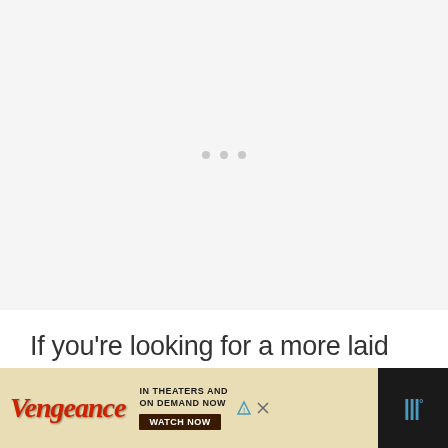[Figure (other): Loading spinner area with three gray dots centered in a light gray background area]
If you're looking for a more laid back affair, then you can enjoy the Homer Simpson of wa…
[Figure (other): Advertisement banner for 'Vengeance' movie. Shows 'Vengeance' in red cursive logo on parchment background, text 'IN THEATERS AND ON DEMAND NOW' with 'WATCH NOW' button, info and close icons, and a blue 'W' logo on dark background on the right.]